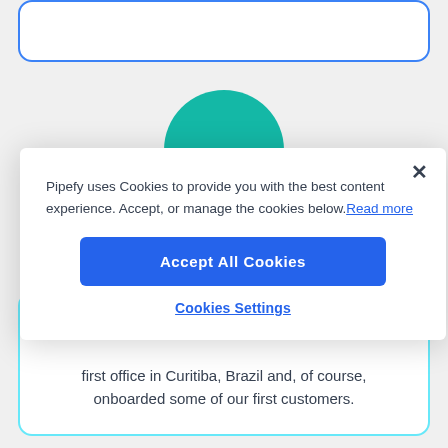[Figure (screenshot): Top portion of a webpage card with blue border, partially visible]
[Figure (illustration): Teal semicircle avatar/icon peeking above the cookie consent modal]
Pipefy uses Cookies to provide you with the best content experience. Accept, or manage the cookies below. Read more
Accept All Cookies
Cookies Settings
first office in Curitiba, Brazil and, of course, onboarded some of our first customers.